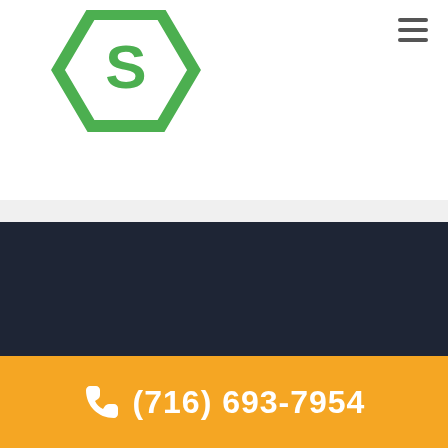[Figure (logo): Shannon Global Energy Solutions logo in color (green hexagon with S, gray text) in page header]
[Figure (logo): Shannon Global Energy Solutions logo in white in dark footer]
(716) 693-7954